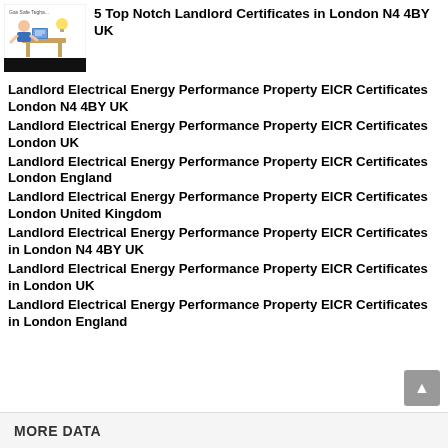[Figure (logo): Cartoon illustration of a person at a desk with a lightbulb, above a black bar, with text above partially visible]
5 Top Notch Landlord Certificates in London N4 4BY UK
Landlord Electrical Energy Performance Property EICR Certificates London N4 4BY UK
Landlord Electrical Energy Performance Property EICR Certificates London UK
Landlord Electrical Energy Performance Property EICR Certificates London England
Landlord Electrical Energy Performance Property EICR Certificates London United Kingdom
Landlord Electrical Energy Performance Property EICR Certificates in London N4 4BY UK
Landlord Electrical Energy Performance Property EICR Certificates in London UK
Landlord Electrical Energy Performance Property EICR Certificates in London England
MORE DATA